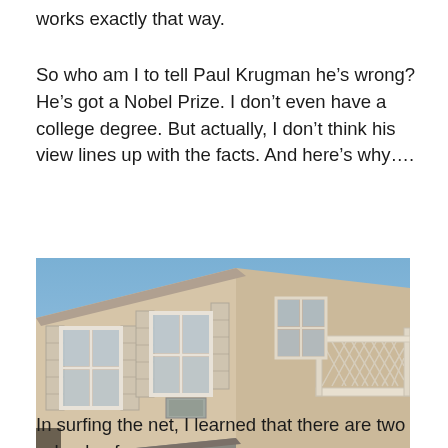works exactly that way.
So who am I to tell Paul Krugman he’s wrong? He’s got a Nobel Prize. I don’t even have a college degree. But actually, I don’t think his view lines up with the facts. And here’s why….
[Figure (photo): Low-angle photograph of a two-story residential building with beige stucco exterior, white-framed windows with shutters, a balcony with white lattice railing on the right side, and a clear blue sky in the background.]
In surfing the net, I learned that there are two schools of